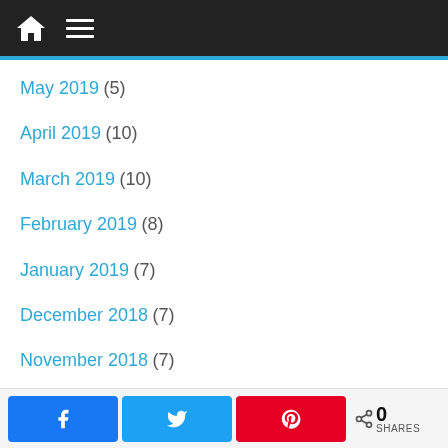Navigation header with home and menu icons
May 2019 (5)
April 2019 (10)
March 2019 (10)
February 2019 (8)
January 2019 (7)
December 2018 (7)
November 2018 (7)
October 2018 (12)
September 2018 (20)
August 2018 (2)
June 2018 (1)
May 2018 (17)
0 SHARES — Facebook, Twitter, Pinterest share buttons